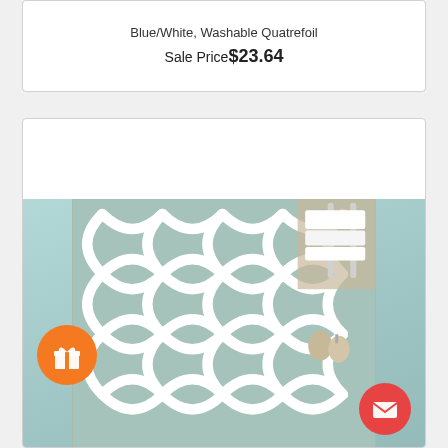Blue/White, Washable Quatrefoil
Sale Price$23.64
[Figure (photo): A light blue/teal bath rug with white quatrefoil pattern, displayed on a wooden floor next to a white towel rack with folded white towels and decorative bathroom accessories. An orange gift button and a red mail button are overlaid on the image.]